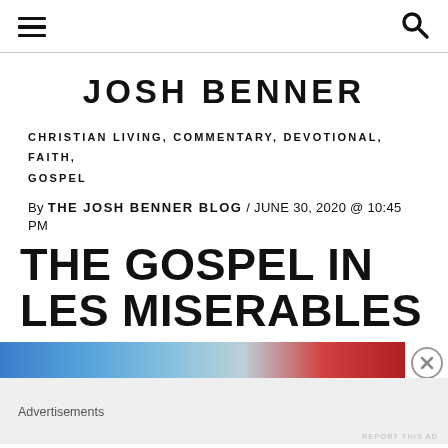≡ [hamburger menu] [search icon]
JOSH BENNER
CHRISTIAN LIVING, COMMENTARY, DEVOTIONAL, FAITH, GOSPEL
By THE JOSH BENNER BLOG / JUNE 30, 2020 @ 10:45 PM
THE GOSPEL IN LES MISERABLES
[Figure (other): Advertisement banner with blue sky and red imagery, with close button]
Advertisements